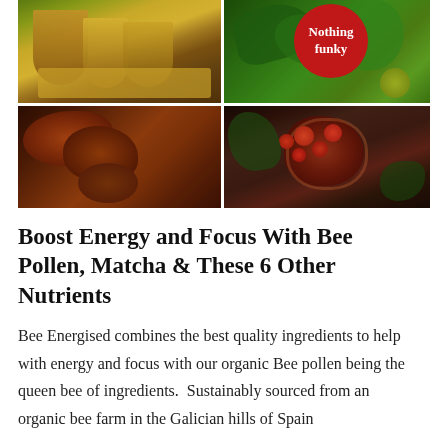[Figure (photo): A 2x2 photo collage of natural ingredients: top-left shows bee pollen and spices in cone-shaped paper bags, top-right shows green leaves and citrus/olive branch, bottom-left shows reishi/ganoderma mushrooms, bottom-right shows red berries in a wooden bowl. A red circular badge reading 'Nothing funky' overlays the top-right area.]
Boost Energy and Focus With Bee Pollen, Matcha & These 6 Other Nutrients
Bee Energised combines the best quality ingredients to help with energy and focus with our organic Bee pollen being the queen bee of ingredients.  Sustainably sourced from an organic bee farm in the Galician hills of Spain